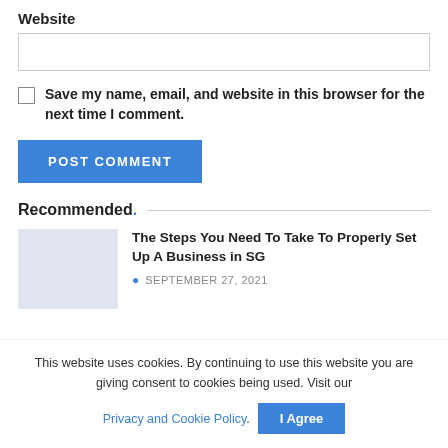Website
[Figure (other): Empty text input field for website URL]
Save my name, email, and website in this browser for the next time I comment.
POST COMMENT
Recommended.
[Figure (photo): Article thumbnail placeholder image (gray rectangle)]
The Steps You Need To Take To Properly Set Up A Business in SG
SEPTEMBER 27, 2021
This website uses cookies. By continuing to use this website you are giving consent to cookies being used. Visit our Privacy and Cookie Policy. I Agree